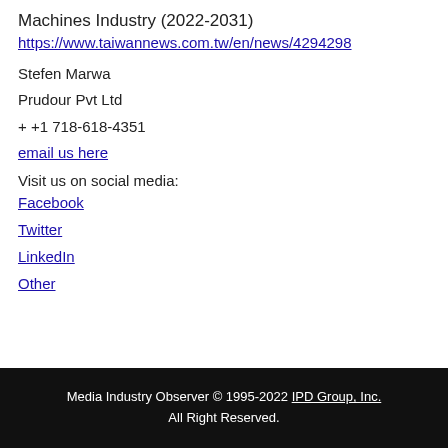Machines Industry (2022-2031)
https://www.taiwannews.com.tw/en/news/4294298
Stefen Marwa
Prudour Pvt Ltd
+ +1 718-618-4351
email us here
Visit us on social media:
Facebook
Twitter
LinkedIn
Other
Media Industry Observer © 1995-2022 IPD Group, Inc.
All Right Reserved.